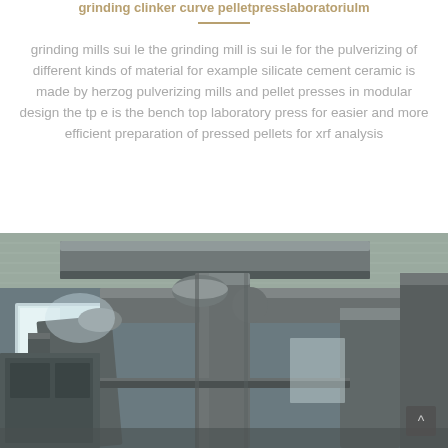grinding clinker curve pelletpresslaboratoriulm
grinding mills sui le the grinding mill is sui le for the pulverizing of different kinds of material for example silicate cement ceramic is made by herzog pulverizing mills and pellet presses in modular design the tp e is the bench top laboratory press for easier and more efficient preparation of pressed pellets for xrf analysis
[Figure (photo): Industrial photograph showing large grey ductwork and piping systems inside a cement or mineral processing facility, viewed from below looking up at the ceiling with industrial equipment and bright windows visible in the background.]